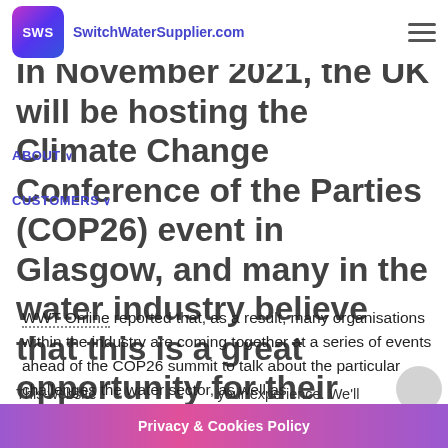SWS SwitchWaterSupplier.com
In November 2021, the UK will be hosting the Climate Change Conference of the Parties (COP26) event in Glasgow, and many in the water industry believe that this is a great opportunity for their voices to be heard.
WWT Online reported that, as a result, many organisations within the industry are coming together at a series of events ahead of the COP26 summit to talk about the particular challenges the water sector, as well as
Privacy & Cookies Policy
This website ... your experience. We'll